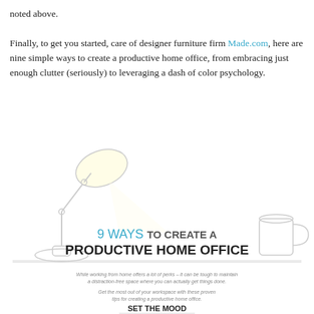noted above.

Finally, to get you started, care of designer furniture firm Made.com, here are nine simple ways to create a productive home office, from embracing just enough clutter (seriously) to leveraging a dash of color psychology.
[Figure (infographic): Infographic titled '9 WAYS TO CREATE A PRODUCTIVE HOME OFFICE' with an illustration of a desk lamp on the left, a coffee mug on the right, and a horizontal dividing line. Below are two paragraphs of small italic text: 'While working from home offers a lot of perks – it can be tough to maintain a distraction-free space where you can actually get things done.' and 'Get the most out of your workspace with these proven tips for creating a productive home office.' Then a bold section header 'SET THE MOOD' followed by italic text 'It's not just about what's in your office, setting the right tone and ambiance can create a productive, stress-free space to work in.']